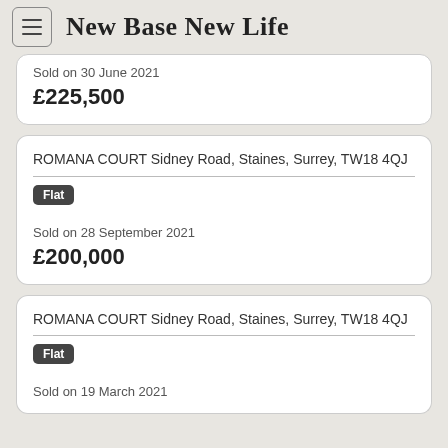New Base New Life
Sold on 30 June 2021
£225,500
ROMANA COURT Sidney Road, Staines, Surrey, TW18 4QJ
Flat
Sold on 28 September 2021
£200,000
ROMANA COURT Sidney Road, Staines, Surrey, TW18 4QJ
Flat
Sold on 19 March 2021